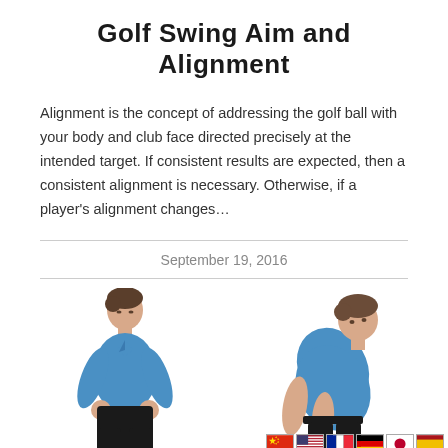Golf Swing Aim and Alignment
Alignment is the concept of addressing the golf ball with your body and club face directed precisely at the intended target. If consistent results are expected, then a consistent alignment is necessary. Otherwise, if a player's alignment changes…
September 19, 2016
[Figure (photo): Two photos side by side of a man in a blue polo shirt demonstrating golf stance/alignment positions. Left: man looking down with hands together in front. Right: man in forward bend golf address position.]